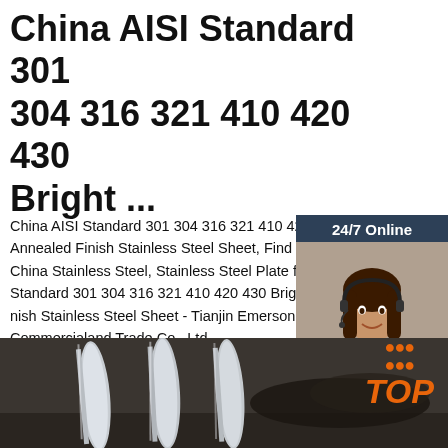China AISI Standard 301 304 316 321 410 420 430 Bright ...
China AISI Standard 301 304 316 321 410 420 430 Bright Annealed Finish Stainless Steel Sheet, Find details about China Stainless Steel, Stainless Steel Plate from AISI Standard 301 304 316 321 410 420 430 Bright Annealed Finish Stainless Steel Sheet - Tianjin Emerson Commercialand Trade Co., Ltd.
[Figure (screenshot): Green 'Get Price' button]
[Figure (photo): Chat widget with woman in headset, 24/7 Online label, 'Click here for free chat!' text, and orange QUOTATION button]
[Figure (photo): Photo strip of stainless steel bright annealed bars/rods in industrial setting, with orange TOP badge overlay]